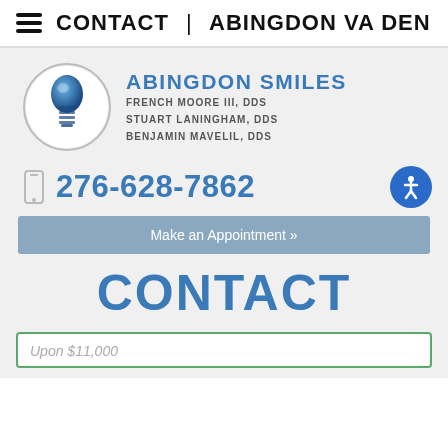CONTACT | ABINGDON VA DEN
[Figure (logo): Abingdon Smiles dental practice logo with circular tooth/implant icon and practice name with three DDS doctors listed: French Moore III, DDS; Stuart Laningham, DDS; Benjamin Mavelil, DDS]
276-628-7862
Make an Appointment »
CONTACT
Upon $11,000